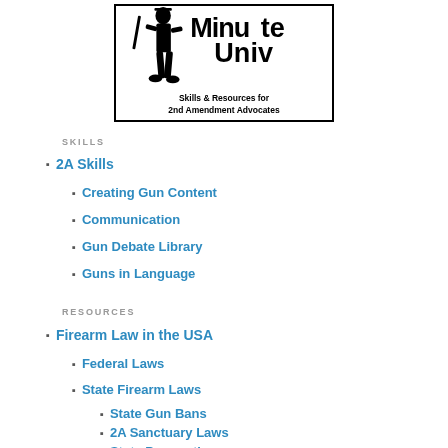[Figure (logo): Minute[man] University logo — silhouette of a minuteman figure with text 'Skills & Resources for 2nd Amendment Advocates' inside a bordered box]
SKILLS
2A Skills
Creating Gun Content
Communication
Gun Debate Library
Guns in Language
RESOURCES
Firearm Law in the USA
Federal Laws
State Firearm Laws
State Gun Bans
2A Sanctuary Laws
State Preemption